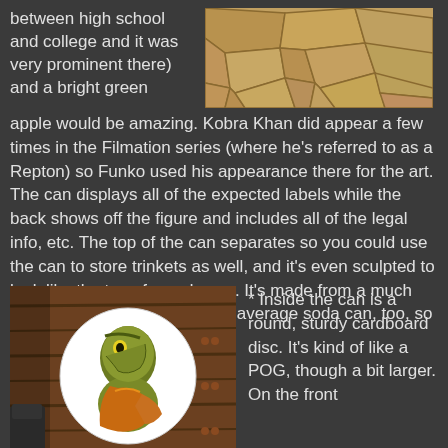between high school and college and it was very prominent there) and a bright green apple would be amazing. Kobra Khan did appear a few times in the Filmation series (where he's referred to as a Repton) so Funko used his appearance there for the art. The can displays all of the expected labels while the back shows off the figure and includes all of the legal info, etc. The top of the can separates so you could use the can to store trinkets as well, and it's even sculpted to look like the top of a soda can. It's made from a much more durable metal than your average soda can, too, so it's quite a nice collectible.
[Figure (photo): Stone/rock texture surface with tan and brown tones showing irregular stone pattern]
[Figure (photo): A round POG-style cardboard disc featuring an illustrated snake/reptile character (Kobra Khan) in green with orange clothing, shown against a wooden background]
* Inside the can is a round, sturdy cardboard disc. It's kind of like a POG, though a bit larger. On the front